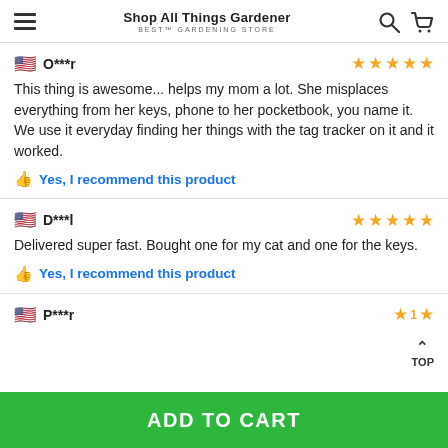Shop All Things Gardener — Best Gardening Store
O***r — 5 stars
This thing is awesome... helps my mom a lot. She misplaces everything from her keys, phone to her pocketbook, you name it. We use it everyday finding her things with the tag tracker on it and it worked.
👍 Yes, I recommend this product
D***l — 5 stars
Delivered super fast. Bought one for my cat and one for the keys.
👍 Yes, I recommend this product
P***r — 1 star